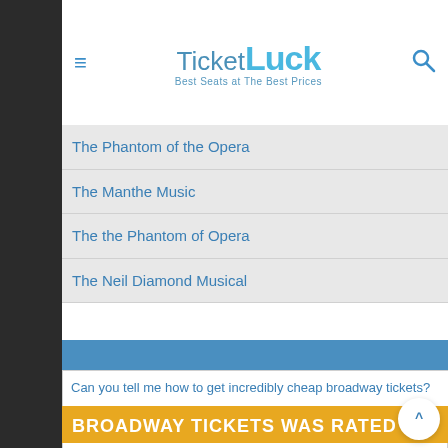Ticket Luck - Best Seats at The Best Prices
The Phantom of the Opera
The Manthe Music
The the Phantom of Opera
The Neil Diamond Musical
Can you tell me how to get incredibly cheap broadway tickets?
how can i get the heart of man is wicked tickets?
BROADWAY TICKETS WAS RATED
out of 10 based on 2 rating(s)